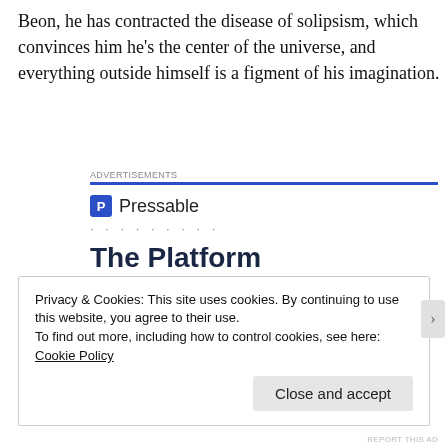Beon, he has contracted the disease of solipsism, which convinces him he's the center of the universe, and everything outside himself is a figment of his imagination.
[Figure (other): Pressable advertisement block with logo, dotted line, and headline 'The Platform Where WordPress Works Best']
Privacy & Cookies: This site uses cookies. By continuing to use this website, you agree to their use.
To find out more, including how to control cookies, see here: Cookie Policy
REPORT THIS AD